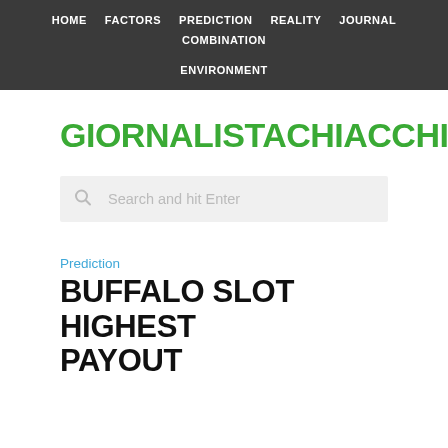HOME  FACTORS  PREDICTION  REALITY  JOURNAL  COMBINATION  ENVIRONMENT
GIORNALISTACHIACCHIERONA
Search and hit Enter
Prediction
BUFFALO SLOT HIGHEST PAYOUT